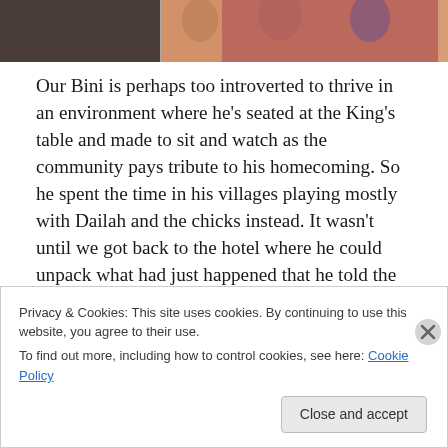[Figure (photo): Partial photo of people, cropped at top of page]
Our Bini is perhaps too introverted to thrive in an environment where he's seated at the King's table and made to sit and watch as the community pays tribute to his homecoming. So he spent the time in his villages playing mostly with Dailah and the chicks instead. It wasn't until we got back to the hotel where he could unpack what had just happened that he told the story with giggles and gesticulations not common with our Bini. He too, had embraced his Ethiopian nature to live life in a big way.
Privacy & Cookies: This site uses cookies. By continuing to use this website, you agree to their use.
To find out more, including how to control cookies, see here: Cookie Policy